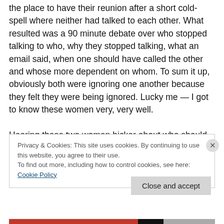the place to have their reunion after a short cold-spell where neither had talked to each other. What resulted was a 90 minute debate over who stopped talking to who, why they stopped talking, what an email said, when one should have called the other and whose more dependent on whom. To sum it up, obviously both were ignoring one another because they felt they were being ignored. Lucky me — I got to know these women very, very well.

Hearing these two women bicker about who should have called who and each of them equally justifying the
Privacy & Cookies: This site uses cookies. By continuing to use this website, you agree to their use.
To find out more, including how to control cookies, see here: Cookie Policy